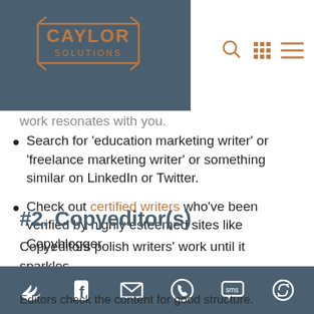Caylor Solutions — navigation header
work resonates with you. (partial, cut off)
Search for 'education marketing writer' or 'freelance marketing writer' or something similar on LinkedIn or Twitter.
Check out certified writers who've been verified by highly esteemed sites like Copyblogger.
#2. Copyeditor(s)
Copyeditors polish writers' work until it sparkles.
Editors check the content for good structure.